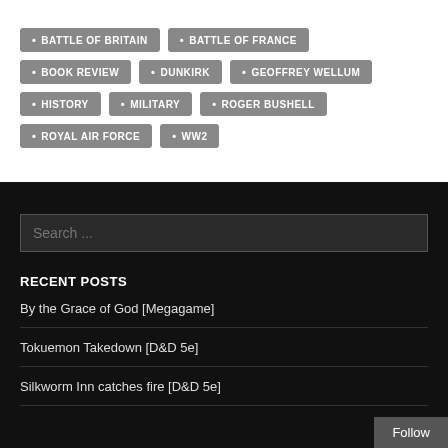BATTLE OF BRITAIN
BATTLE OF FRANCE
BOOK REVIEW
DUNKIRK
GEOFFREY WELLUM
HISTORY
MILITARY
ROGER BUSHELL
ROYAL AIR FORCE
WW2
Search ...
RECENT POSTS
By the Grace of God [Megagame]
Tokuemon Takedown [D&D 5e]
Silkworm Inn catches fire [D&D 5e]